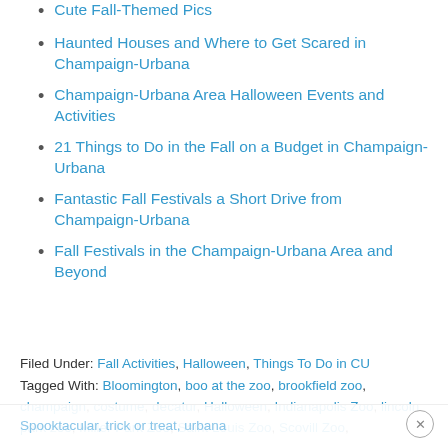Cute Fall-Themed Pics
Haunted Houses and Where to Get Scared in Champaign-Urbana
Champaign-Urbana Area Halloween Events and Activities
21 Things to Do in the Fall on a Budget in Champaign-Urbana
Fantastic Fall Festivals a Short Drive from Champaign-Urbana
Fall Festivals in the Champaign-Urbana Area and Beyond
Filed Under: Fall Activities, Halloween, Things To Do in CU
Tagged With: Bloomington, boo at the zoo, brookfield zoo, champaign, costume, decatur, Halloween, Indianapolis Zoo, lincoln park zoo, Miller Park Zoo, Saint Louis Zoo, Scovill Zoo, Spooktacular, trick or treat, urbana